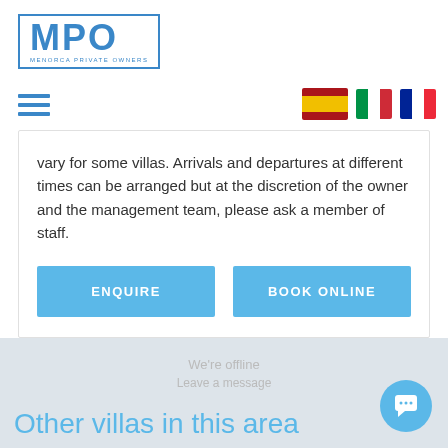[Figure (logo): MPO Menorca Private Owners logo in blue with border]
[Figure (other): Hamburger menu icon (three horizontal blue lines) on the left, and three country flags (Spain, Italy, France) on the right]
vary for some villas. Arrivals and departures at different times can be arranged but at the discretion of the owner and the management team, please ask a member of staff.
[Figure (other): Two light blue buttons side by side: ENQUIRE and BOOK ONLINE]
We're offline
Leave a message
Other villas in this area